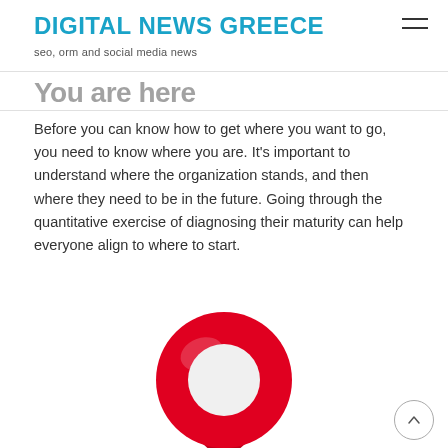DIGITAL NEWS GREECE — seo, orm and social media news
You are here
Before you can know how to get where you want to go, you need to know where you are. It's important to understand where the organization stands, and then where they need to be in the future. Going through the quantitative exercise of diagnosing their maturity can help everyone align to where to start.
[Figure (photo): A red map location pin / marker (donut ring shape) viewed from above, shown on a white background, partially cut off at the bottom of the page.]